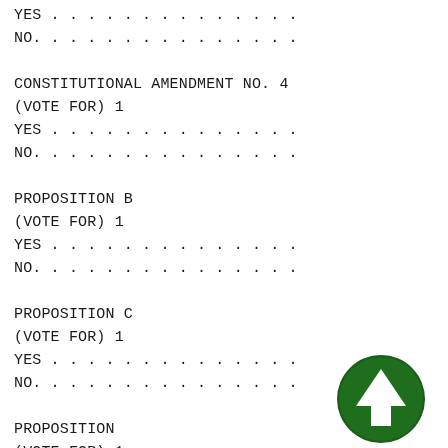YES . . . . . . . . . . . . . .
NO.  . . . . . . . . . . . . . .
CONSTITUTIONAL AMENDMENT NO. 4
(VOTE FOR)  1
YES . . . . . . . . . . . . . .
NO.  . . . . . . . . . . . . . .
PROPOSITION B
(VOTE FOR)  1
YES . . . . . . . . . . . . . .
NO.  . . . . . . . . . . . . . .
PROPOSITION C
(VOTE FOR)  1
YES . . . . . . . . . . . . . .
NO.  . . . . . . . . . . . . . .
PROPOSITION
(VOTE FOR)  1
YES . . . . . . . . . . . . . .
NO.